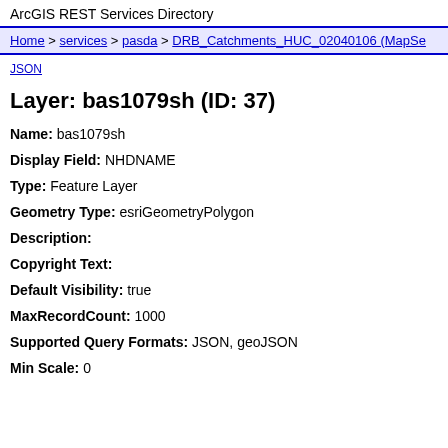ArcGIS REST Services Directory
Home > services > pasda > DRB_Catchments_HUC_02040106 (MapSe
JSON
Layer: bas1079sh (ID: 37)
Name: bas1079sh
Display Field: NHDNAME
Type: Feature Layer
Geometry Type: esriGeometryPolygon
Description:
Copyright Text:
Default Visibility: true
MaxRecordCount: 1000
Supported Query Formats: JSON, geoJSON
Min Scale: 0